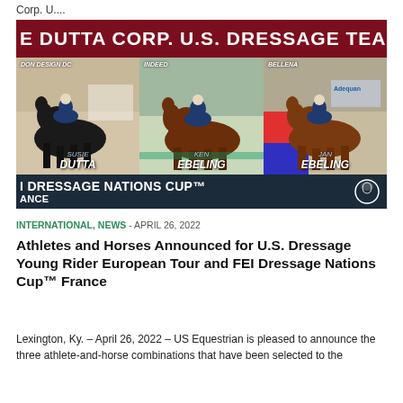Corp. U....
[Figure (photo): US Dressage team promotional image showing three rider-horse combinations (Susie Dutta on Don Design DC, Ken Ebeling on Indeed, Jan Ebeling on Bellena) with banners reading 'E DUTTA CORP. U.S. DRESSAGE TEAM' and 'I DRESSAGE NATIONS CUP™ FRANCE']
INTERNATIONAL, NEWS - APRIL 26, 2022
Athletes and Horses Announced for U.S. Dressage Young Rider European Tour and FEI Dressage Nations Cup™ France
Lexington, Ky. – April 26, 2022 – US Equestrian is pleased to announce the three athlete-and-horse combinations that have been selected to the